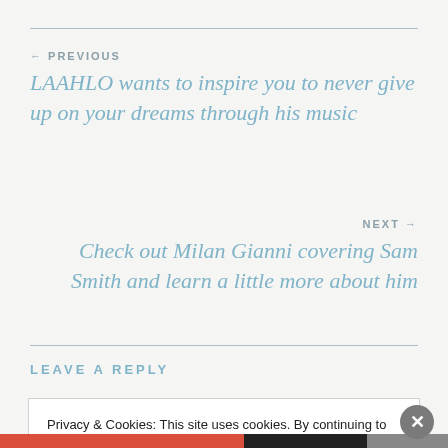← PREVIOUS
LAAHLO wants to inspire you to never give up on your dreams through his music
NEXT →
Check out Milan Gianni covering Sam Smith and learn a little more about him
LEAVE A REPLY
Privacy & Cookies: This site uses cookies. By continuing to use this website, you agree to their use. To find out more, including how to control cookies, see here: Cookie Policy
Close and accept